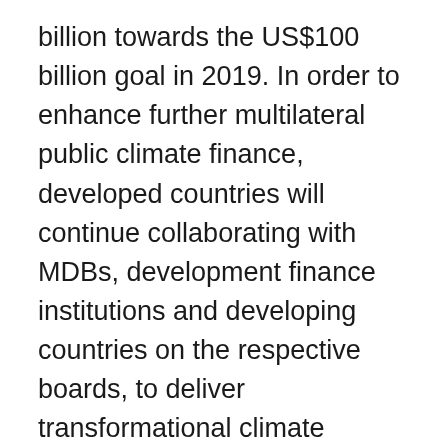billion towards the US$100 billion goal in 2019. In order to enhance further multilateral public climate finance, developed countries will continue collaborating with MDBs, development finance institutions and developing countries on the respective boards, to deliver transformational climate change action. Developed countries will continue to urge MDBs to further scale up their climate finance portfolio, to produce and share concrete actions that will enhance the mobilization of climate private finance, and to condense